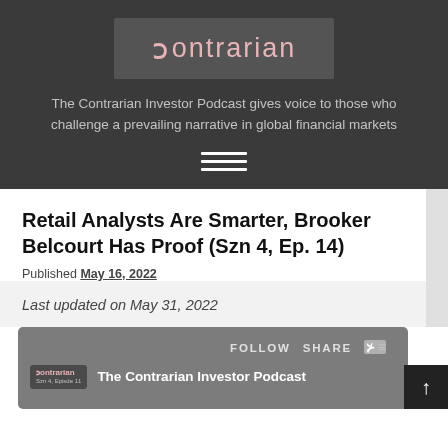[Figure (logo): Contrarian logo with stylized 'C' symbol in pink/rose color on dark gray background box]
The Contrarian Investor Podcast gives voice to those who challenge a prevailing narrative in global financial markets
[Figure (other): Hamburger menu icon with three white horizontal lines]
Retail Analysts Are Smarter, Brooker Belcourt Has Proof (Szn 4, Ep. 14)
Published May 16, 2022
Last updated on May 31, 2022
[Figure (screenshot): Podcast player embed showing FOLLOW SHARE controls, Contrarian logo and The Contrarian Investor Podcast title on dark gray background]